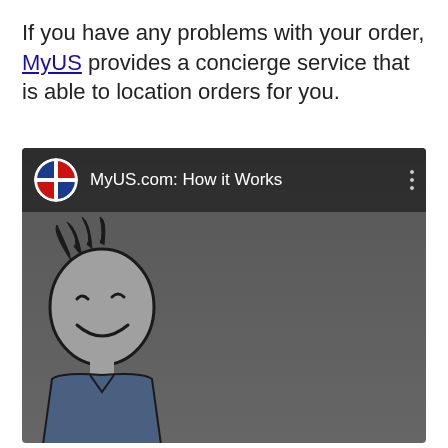If you have any problems with your order, MyUS provides a concierge service that is able to location orders for you.
[Figure (screenshot): YouTube video thumbnail for 'MyUS.com: How it Works' showing a dark grey background with the MyUS logo (globe icon with red and white checkered pattern) and a cartoon character (stick-figure person with spiky hair, smiling face) visible in the bottom left corner.]